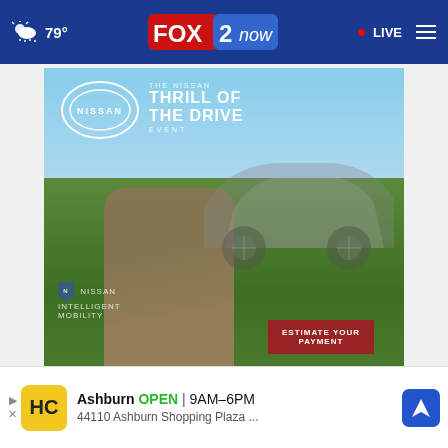79° FOX 2 now • LIVE
[Figure (photo): Nissan advertisement: 'The Nissan Thrill of the Drive Event' showing a Nissan SUV driving on a dirt road through green fields with text 'Nissan Intelligent Mobility' and 'Estimate Your Payment' button]
AROUND THE WEB
[Figure (infographic): Bottom advertisement banner: HC logo, Ashburn OPEN 9AM–6PM, 44110 Ashburn Shopping Plaza ..., with navigation icon]